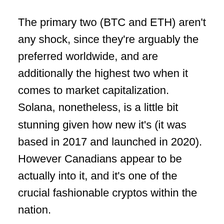The primary two (BTC and ETH) aren't any shock, since they're arguably the preferred worldwide, and are additionally the highest two when it comes to market capitalization. Solana, nonetheless, is a little bit stunning given how new it's (it was based in 2017 and launched in 2020). However Canadians appear to be actually into it, and it's one of the crucial fashionable cryptos within the nation.
Whereas Bitcoin and Ether are simply purchased, bought, or traded on the Coinberry platform, the corporate doesn't help any Solana transactions on the time of this writing.